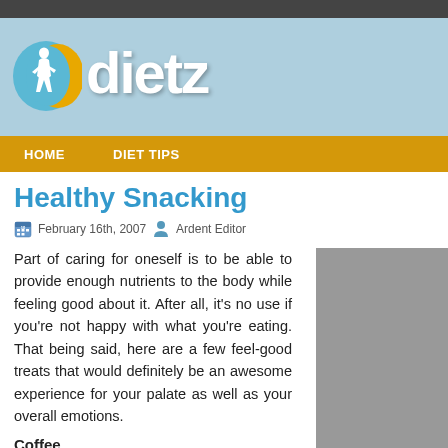[Figure (logo): Dietz diet website logo with woman silhouette icon and 'dietz' text in white on light blue background]
HOME   DIET TIPS
Healthy Snacking
February 16th, 2007  Ardent Editor
Part of caring for oneself is to be able to provide enough nutrients to the body while feeling good about it. After all, it's no use if you're not happy with what you're eating. That being said, here are a few feel-good treats that would definitely be an awesome experience for your palate as well as your overall emotions.
Coffee